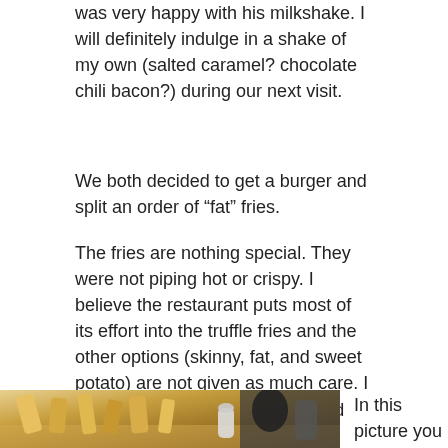was very happy with his milkshake. I will definitely indulge in a shake of my own (salted caramel? chocolate chili bacon?) during our next visit.
We both decided to get a burger and split an order of “fat” fries.
The fries are nothing special. They were not piping hot or crispy. I believe the restaurant puts most of its effort into the truffle fries and the other options (skinny, fat, and sweet potato) are not given as much care. I would probably order a side salad instead of fries on my next visit.
[Figure (photo): A photo of fat fries served on a plate on a restaurant table, with condiments and a salt shaker visible in the background.]
In this picture you see